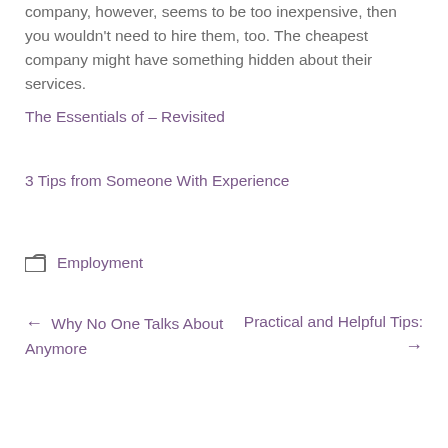company, however, seems to be too inexpensive, then you wouldn't need to hire them, too. The cheapest company might have something hidden about their services.
The Essentials of – Revisited
3 Tips from Someone With Experience
Employment
← Why No One Talks About Anymore
Practical and Helpful Tips: →